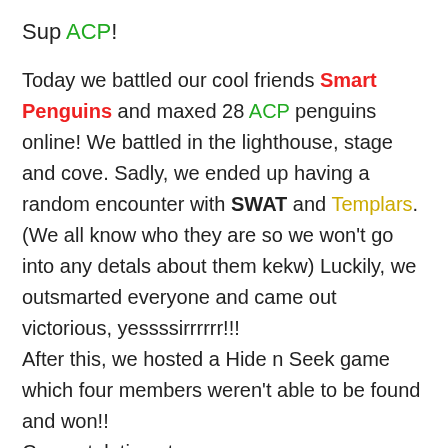Sup ACP!
Today we battled our cool friends Smart Penguins and maxed 28 ACP penguins online! We battled in the lighthouse, stage and cove. Sadly, we ended up having a random encounter with SWAT and Templars. (We all know who they are so we won't go into any detals about them kekw) Luckily, we outsmarted everyone and came out victorious, yessssirrrrrr!!! After this, we hosted a Hide n Seek game which four members weren't able to be found and won!! Congratulations to
[Figure (other): Broken image placeholder with alt text: This image has an empty alt attribute; its file name is un[known]]